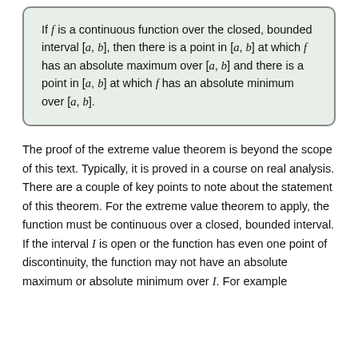If f is a continuous function over the closed, bounded interval [a, b], then there is a point in [a, b] at which f has an absolute maximum over [a, b] and there is a point in [a, b] at which f has an absolute minimum over [a, b].
The proof of the extreme value theorem is beyond the scope of this text. Typically, it is proved in a course on real analysis. There are a couple of key points to note about the statement of this theorem. For the extreme value theorem to apply, the function must be continuous over a closed, bounded interval. If the interval I is open or the function has even one point of discontinuity, the function may not have an absolute maximum or absolute minimum over I. For example